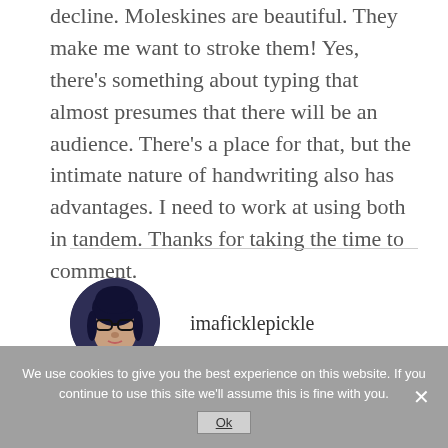decline. Moleskines are beautiful. They make me want to stroke them! Yes, there's something about typing that almost presumes that there will be an audience. There's a place for that, but the intimate nature of handwriting also has advantages. I need to work at using both in tandem. Thanks for taking the time to comment.
[Figure (photo): Circular avatar photo of a person with glasses and dark hair, with dark blue/purple background]
imaficklepickle
We use cookies to give you the best experience on this website. If you continue to use this site we'll assume this is fine with you.
Ok